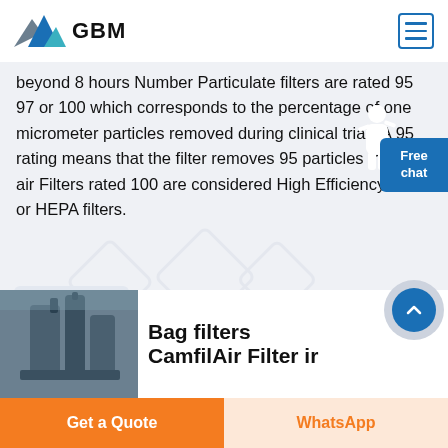GBM
beyond 8 hours Number Particulate filters are rated 95 97 or 100 which corresponds to the percentage of one micrometer particles removed during clinical trials A 95 rating means that the filter removes 95 particles from the air Filters rated 100 are considered High Efficiency HE or HEPA filters.
Get Price
[Figure (photo): Industrial bag filter equipment, large cylindrical machinery in an industrial setting]
Bag filters CamfilAir Filter ir
Get a Quote | WhatsApp